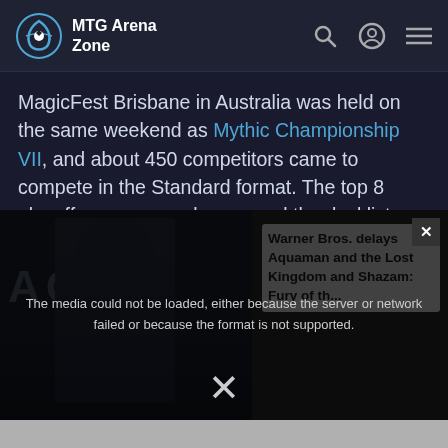MTG Arena Zone
MagicFest Brisbane in Australia was held on the same weekend as Mythic Championship VII, and about 450 competitors came to compete in the Standard format. The top 8 playoffs are now underway and the decklists have been revealed by the coverage team at ChannelFireball. The top 8 consists of 4 Jeskai Fires, 1 Simic Flash, 1 Simic Ramp,
[Figure (screenshot): Video ad overlay showing a media error message: 'The media could not be loaded, either because the server or network failed or because the format is not supported.' Over a partially visible Aquaman movie promotion. Warner Bros. delays Aquaman and the Lost Kingdom and Shazam: Fury of th... text visible. Close X buttons present.]